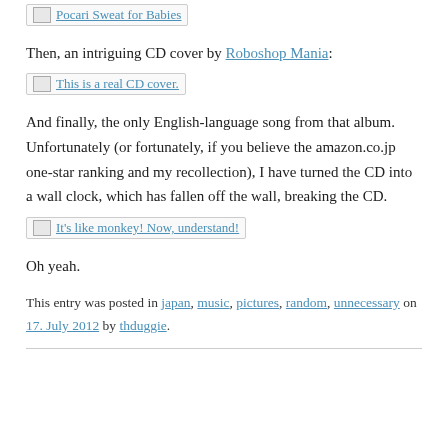[Figure (other): Broken image placeholder link: Pocari Sweat for Babies]
Then, an intriguing CD cover by Roboshop Mania:
[Figure (other): Broken image placeholder link: This is a real CD cover.]
And finally, the only English-language song from that album. Unfortunately (or fortunately, if you believe the amazon.co.jp one-star ranking and my recollection), I have turned the CD into a wall clock, which has fallen off the wall, breaking the CD.
[Figure (other): Broken image placeholder link: It's like monkey! Now, understand!]
Oh yeah.
This entry was posted in japan, music, pictures, random, unnecessary on 17. July 2012 by thduggie.